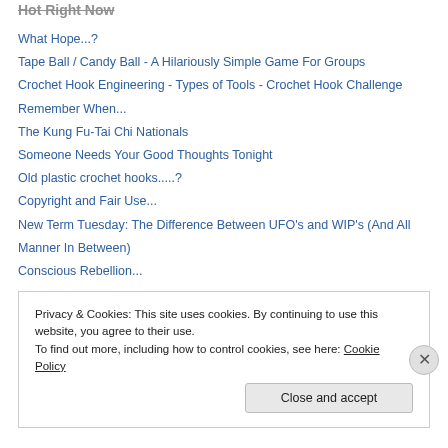Hot Right Now
What Hope...?
Tape Ball / Candy Ball - A Hilariously Simple Game For Groups
Crochet Hook Engineering - Types of Tools - Crochet Hook Challenge
Remember When...
The Kung Fu-Tai Chi Nationals
Someone Needs Your Good Thoughts Tonight
Old plastic crochet hooks.....?
Copyright and Fair Use...
New Term Tuesday: The Difference Between UFO's and WIP's (And All Manner In Between)
Conscious Rebellion...
Privacy & Cookies: This site uses cookies. By continuing to use this website, you agree to their use. To find out more, including how to control cookies, see here: Cookie Policy